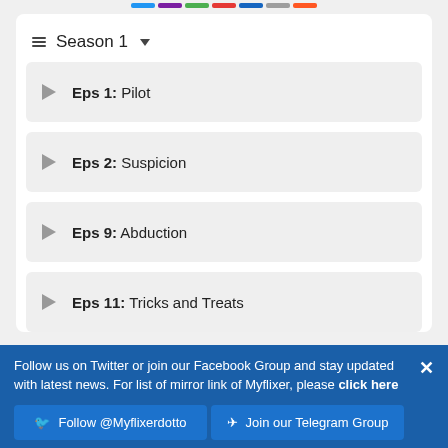Season 1
Eps 1: Pilot
Eps 2: Suspicion
Eps 9: Abduction
Eps 11: Tricks and Treats
Follow us on Twitter or join our Facebook Group and stay updated with latest news. For list of mirror link of Myflixer, please click here
Follow @Myflixerdotto | Join our Telegram Group